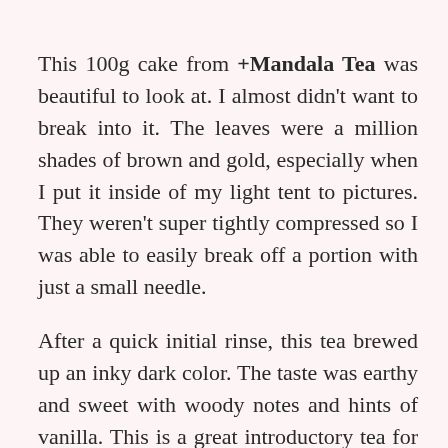This 100g cake from +Mandala Tea was beautiful to look at. I almost didn't want to break into it. The leaves were a million shades of brown and gold, especially when I put it inside of my light tent to pictures. They weren't super tightly compressed so I was able to easily break off a portion with just a small needle.
After a quick initial rinse, this tea brewed up an inky dark color. The taste was earthy and sweet with woody notes and hints of vanilla. This is a great introductory tea for those that are new to cooked puerh. It wasn't overly earthy and